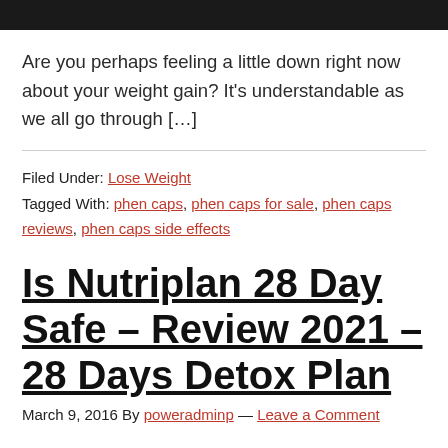[Figure (photo): Partial photo of a person, cropped at top of page, dark background]
Are you perhaps feeling a little down right now about your weight gain? It's understandable as we all go through […]
Filed Under: Lose Weight
Tagged With: phen caps, phen caps for sale, phen caps reviews, phen caps side effects
Is Nutriplan 28 Day Safe – Review 2021 – 28 Days Detox Plan
March 9, 2016 By poweradminp — Leave a Comment